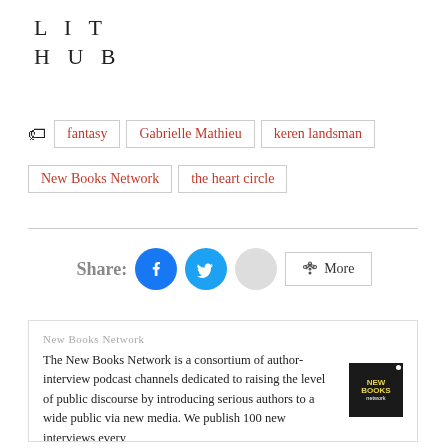LIT HUB
fantasy
Gabrielle Mathieu
keren landsman
New Books Network
the heart circle
[Figure (infographic): Share buttons row: Share label, Facebook circle button, Twitter circle button, grey circle button, More button with share icon]
New Books Network
The New Books Network is a consortium of author-interview podcast channels dedicated to raising the level of public discourse by introducing serious authors to a wide public via new media. We publish 100 new interviews every